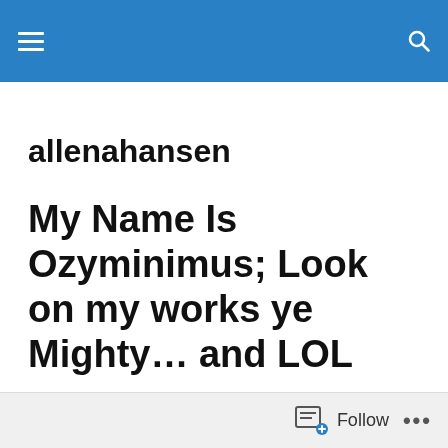allenahansen
allenahansen
My Name Is Ozyminimus; Look on my works ye Mighty… and LOL
Follow ...